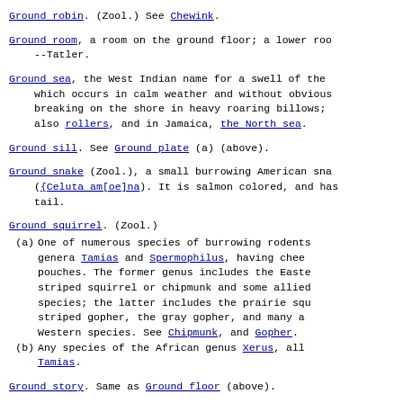Ground robin. (Zool.) See Chewink.
Ground room, a room on the ground floor; a lower roo --Tatler.
Ground sea, the West Indian name for a swell of the which occurs in calm weather and without obvious breaking on the shore in heavy roaring billows; also rollers, and in Jamaica, the North sea.
Ground sill. See Ground plate (a) (above).
Ground snake (Zool.), a small burrowing American sna ({Celuta am[oe]na). It is salmon colored, and has tail.
Ground squirrel. (Zool.) (a) One of numerous species of burrowing rodents genera Tamias and Spermophilus, having chee pouches. The former genus includes the Easte striped squirrel or chipmunk and some allied species; the latter includes the prairie squ striped gopher, the gray gopher, and many a Western species. See Chipmunk, and Gopher. (b) Any species of the African genus Xerus, all Tamias.
Ground story. Same as Ground floor (above).